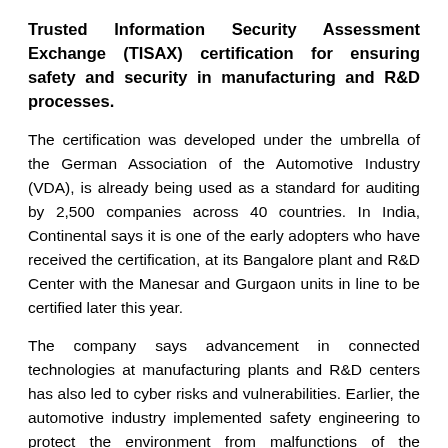Trusted Information Security Assessment Exchange (TISAX) certification for ensuring safety and security in manufacturing and R&D processes.
The certification was developed under the umbrella of the German Association of the Automotive Industry (VDA), is already being used as a standard for auditing by 2,500 companies across 40 countries. In India, Continental says it is one of the early adopters who have received the certification, at its Bangalore plant and R&D Center with the Manesar and Gurgaon units in line to be certified later this year.
The company says advancement in connected technologies at manufacturing plants and R&D centers has also led to cyber risks and vulnerabilities. Earlier, the automotive industry implemented safety engineering to protect the environment from malfunctions of the vehicular systems. However, today, the systems also need protection from malicious elements in